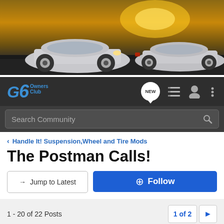[Figure (photo): Website header banner showing two silver Pontiac G6 coupes on a road with a dramatic sunset sky background]
[Figure (logo): G6 Owners Club logo in blue italic font with navigation icons including NEW bubble, list, user, and menu icons]
Search Community
Handle It! Suspension,Wheel and Tire Mods
The Postman Calls!
→ Jump to Latest
+ Follow
1 - 20 of 22 Posts
1 of 2
Kman · Designed For Action